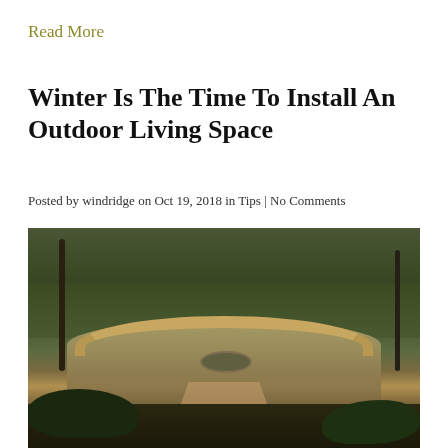Read More
Winter Is The Time To Install An Outdoor Living Space
Posted by windridge on Oct 19, 2018 in Tips | No Comments
[Figure (photo): Outdoor patio with circular stone seating wall, cushioned chairs around a central fire pit, paver pathway, surrounded by trees and shrubs in a residential backyard.]